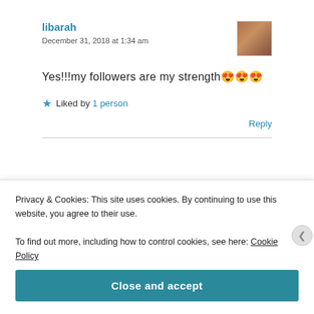libarah
December 31, 2018 at 1:34 am
Yes!!!my followers are my strength😍😍😍
Liked by 1 person
Reply
Privacy & Cookies: This site uses cookies. By continuing to use this website, you agree to their use.
To find out more, including how to control cookies, see here: Cookie Policy
Close and accept